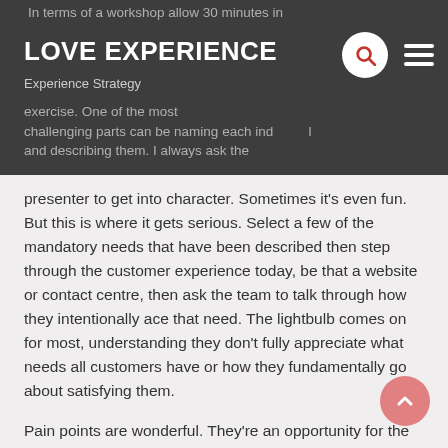In terms of a workshop allow 30 minutes in
LOVE EXPERIENCE
Experience Strategy
exercise. One of the most challenging parts can be naming each individual and describing them. I always ask the
presenter to get into character. Sometimes it's even fun. But this is where it gets serious. Select a few of the mandatory needs that have been described then step through the customer experience today, be that a website or contact centre, then ask the team to talk through how they intentionally ace that need. The lightbulb comes on for most, understanding they don't fully appreciate what needs all customers have or how they fundamentally go about satisfying them.
Pain points are wonderful. They're an opportunity for the organisation to help go about solving customer challenge whether directly related or not and therefore being of